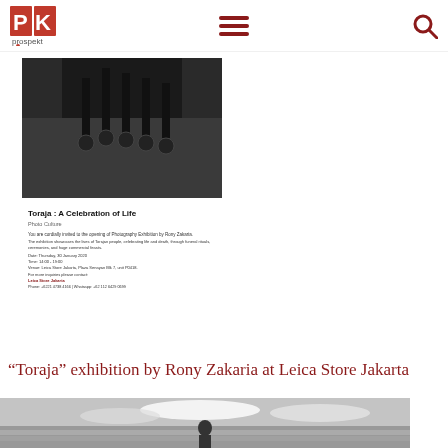PK prospekt
[Figure (photo): Photography exhibition invitation flyer for Toraja: A Celebration of Life by Rony Zakaria, showing a black and white image of a person lying with industrial/ceremonial elements above]
Toraja : A Celebration of Life
Photo Culture
You are cordially invited to the opening of Photography Exhibition by Rony Zakaria. The exhibition showcases the lives of Torajan people, celebrating life and death, through funeral rituals, ceremonies, and huge commercial feasts.
Date: Thursday, 30 January 2020
Time: 14:00 - 19:00
Venue: Leica Store Jakarta, Plaza Senayan Blk 7, unit P0418.
For more inquiries please contact:
Leica Store Jakarta
Phone: +6221 4738 4166 | Whatsapp: +62 112 6429 0699
“Toraja” exhibition by Rony Zakaria at Leica Store Jakarta
[Figure (photo): Black and white photograph of a person standing at the shore of a beach, seen from behind, with ocean waves and cloudy sky in the background]